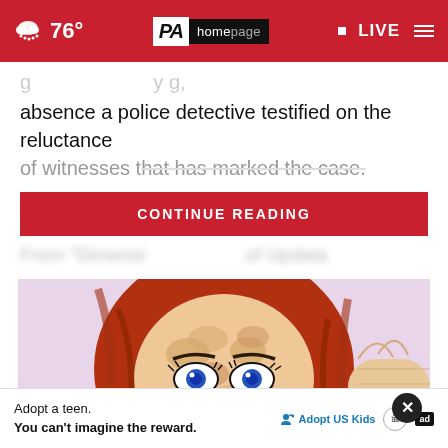76° | PA homepage | LIVE
absence a police detective testified on the reluctance of witnesses that has marked the case.
CONTINUE READING
[Figure (illustration): Illustration of a cartoon woman with red hair, blue eyes, and spotted/freckled face peeking over a surface]
Adopt a teen. You can't imagine the reward.